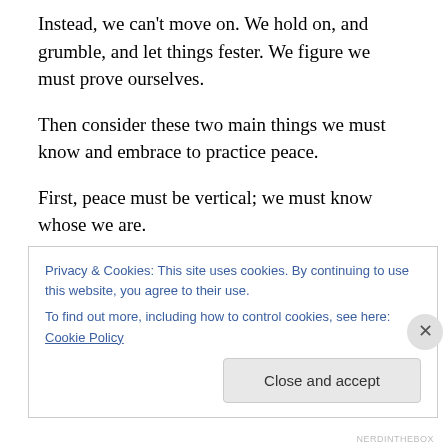Instead, we can't move on. We hold on, and grumble, and let things fester. We figure we must prove ourselves.
Then consider these two main things we must know and embrace to practice peace.
First, peace must be vertical; we must know whose we are.
Do you know that you are a child of God? Before you were the biological decision of a mother and a father, before you were born, adopted, raised, or even named, you were a
Privacy & Cookies: This site uses cookies. By continuing to use this website, you agree to their use.
To find out more, including how to control cookies, see here: Cookie Policy
NERDINTHEBOX